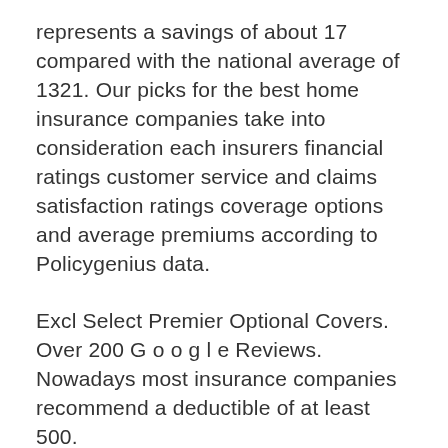represents a savings of about 17 compared with the national average of 1321. Our picks for the best home insurance companies take into consideration each insurers financial ratings customer service and claims satisfaction ratings coverage options and average premiums according to Policygenius data.
Excl Select Premier Optional Covers. Over 200 G o o g l e Reviews. Nowadays most insurance companies recommend a deductible of at least 500.
Ad Over 120k People Bought Aviva Home Insurance In The Last Year As Of Aug 21. Appliance Repair Architects Asphalt Paving Companies Cabinet Makers Carpenters Carpet Cleaning Chimney Sweeps. Best Title Companies near you.